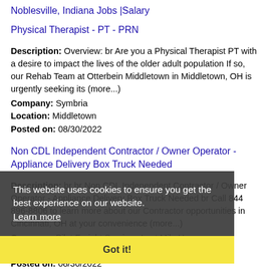Noblesville, Indiana Jobs |Salary
Physical Therapist - PT - PRN
Description: Overview: br Are you a Physical Therapist PT with a desire to impact the lives of the older adult population If so, our Rehab Team at Otterbein Middletown in Middletown, OH is urgently seeking its (more...)
Company: Symbria
Location: Middletown
Posted on: 08/30/2022
Non CDL Independent Contractor / Owner Operator - Appliance Delivery Box Truck Needed
Description: br br Non CDL Independent Contractor / Owner Operator - Appliance Delivery Box Truck Needed br Call 844 896-8806 to learn more about our Contractor opportunities in Cincinnati, OH at your convenience (more...)
Company: Pilot Freight Services-Last Mile Home
Location: Middletown
Posted on: 08/30/2022
Product Support Coordinator (Work From Home)
Description: Customer Service / Fully Remote - Anywhere in U.S. / Competitive Pay / Entry-level / West Coast